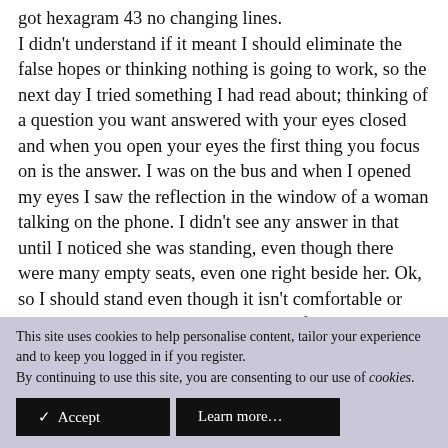got hexagram 43 no changing lines. I didn't understand if it meant I should eliminate the false hopes or thinking nothing is going to work, so the next day I tried something I had read about; thinking of a question you want answered with your eyes closed and when you open your eyes the first thing you focus on is the answer. I was on the bus and when I opened my eyes I saw the reflection in the window of a woman talking on the phone. I didn't see any answer in that until I noticed she was standing, even though there were many empty seats, even one right beside her. Ok, so I should stand even though it isn't comfortable or even unneccessary, but should I stand for something or against something?
This site uses cookies to help personalise content, tailor your experience and to keep you logged in if you register.
By continuing to use this site, you are consenting to our use of cookies.
✓ Accept
Learn more...